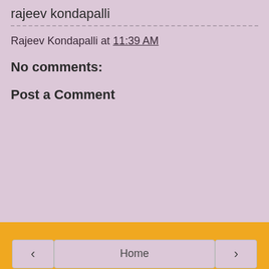rajeev kondapalli
Rajeev Kondapalli at 11:39 AM
No comments:
Post a Comment
< Home > View web version
About Me
Rajeev Kondapalli
Secunderabad, Andhra Pradesh, India
View my complete profile
Powered by Blogger.